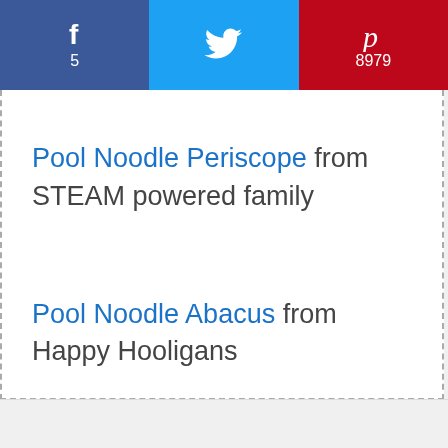[Figure (infographic): Social sharing bar with three buttons: Facebook (f, count 5) in dark blue, Twitter (bird icon) in light blue, Pinterest (P, count 8979) in red]
Pool Noodle Periscope from STEAM powered family
Pool Noodle Abacus from Happy Hooligans